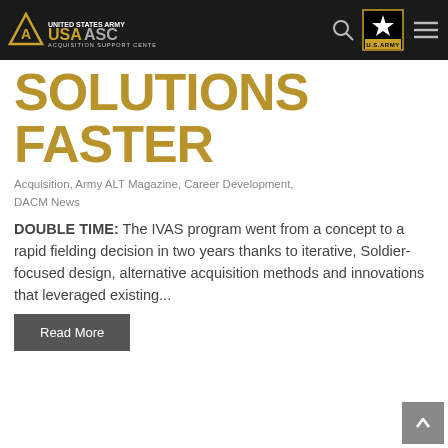USAASC - United States Army Acquisition Support Center navigation bar
SOLUTIONS FASTER
Acquisition, Army ALT Magazine, Career Development, DACM News
DOUBLE TIME: The IVAS program went from a concept to a rapid fielding decision in two years thanks to iterative, Soldier-focused design, alternative acquisition methods and innovations that leveraged existing...
Read More